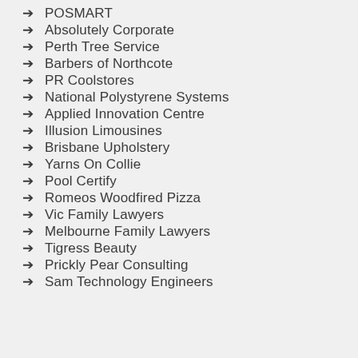POSMART
Absolutely Corporate
Perth Tree Service
Barbers of Northcote
PR Coolstores
National Polystyrene Systems
Applied Innovation Centre
Illusion Limousines
Brisbane Upholstery
Yarns On Collie
Pool Certify
Romeos Woodfired Pizza
Vic Family Lawyers
Melbourne Family Lawyers
Tigress Beauty
Prickly Pear Consulting
Sam Technology Engineers